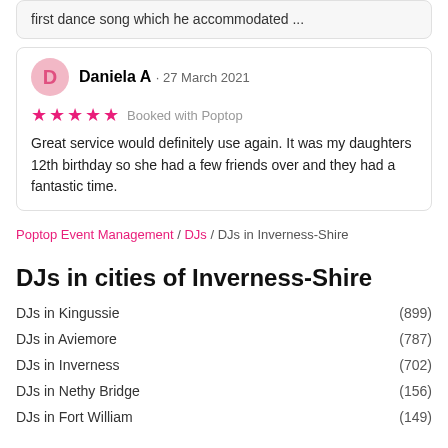first dance song which he accommodated ...
Daniela A · 27 March 2021
★★★★★ Booked with Poptop
Great service would definitely use again. It was my daughters 12th birthday so she had a few friends over and they had a fantastic time.
Poptop Event Management / DJs / DJs in Inverness-Shire
DJs in cities of Inverness-Shire
DJs in Kingussie (899)
DJs in Aviemore (787)
DJs in Inverness (702)
DJs in Nethy Bridge (156)
DJs in Fort William (149)